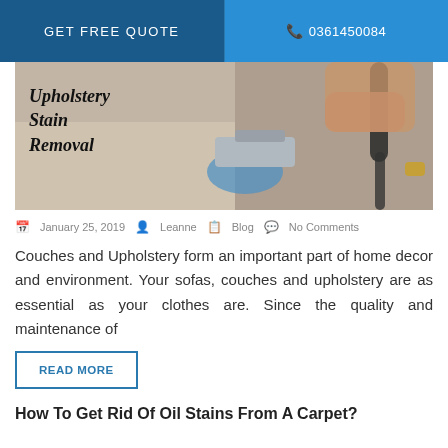GET FREE QUOTE   📞 0361450084
[Figure (photo): Upholstery stain removal hero image showing a person in blue gloves using a steam cleaning machine on a couch/sofa. Text overlay reads 'Upholstery Stain Removal' in bold italic serif font.]
January 25, 2019  Leanne  Blog  No Comments
Couches and Upholstery form an important part of home decor and environment. Your sofas, couches and upholstery are as essential as your clothes are. Since the quality and maintenance of
READ MORE
How To Get Rid Of Oil Stains From A Carpet?